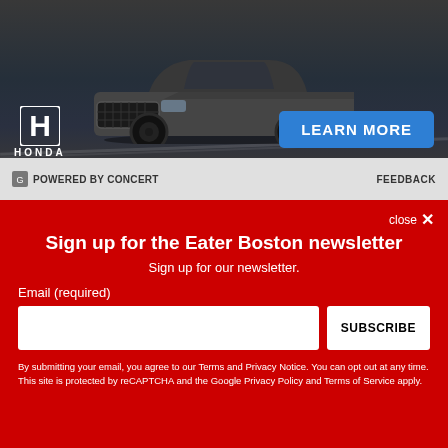[Figure (photo): Honda advertisement showing a dark gray SUV (Honda) on a road, with Honda logo, 'LEARN MORE' blue button, and 'POWERED BY CONCERT' / 'FEEDBACK' footer bar]
close ×
Sign up for the Eater Boston newsletter
Sign up for our newsletter.
Email (required)
SUBSCRIBE
By submitting your email, you agree to our Terms and Privacy Notice. You can opt out at any time. This site is protected by reCAPTCHA and the Google Privacy Policy and Terms of Service apply.